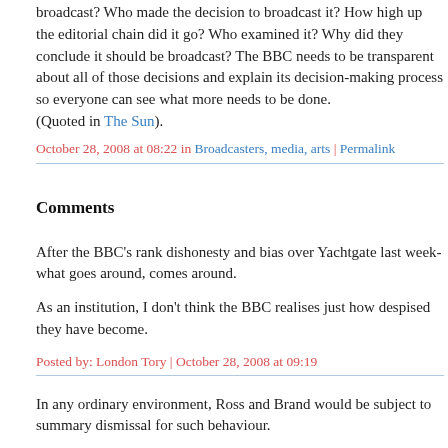broadcast? Who made the decision to broadcast it? How high up the editorial chain did it go? Who examined it? Why did they conclude it should be broadcast? The BBC needs to be transparent about all of those decisions and explain its decision-making process so everyone can see what more needs to be done. (Quoted in The Sun).
October 28, 2008 at 08:22 in Broadcasters, media, arts | Permalink
Comments
After the BBC's rank dishonesty and bias over Yachtgate last week- what goes around, comes around.
As an institution, I don't think the BBC realises just how despised they have become.
Posted by: London Tory | October 28, 2008 at 09:19
In any ordinary environment, Ross and Brand would be subject to summary dismissal for such behaviour.
Entertainment (and, dare I say, politics) seems to operate to different standards.